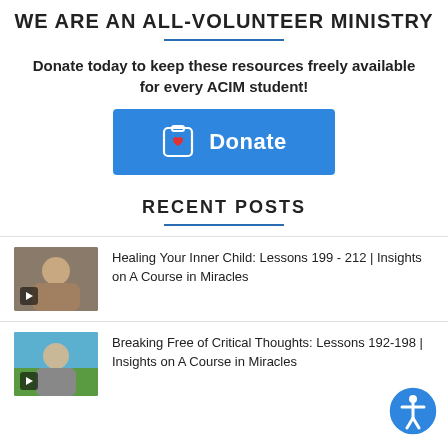WE ARE AN ALL-VOLUNTEER MINISTRY
Donate today to keep these resources freely available for every ACIM student!
[Figure (other): Blue donate button with clipboard-heart icon and 'Donate' text]
RECENT POSTS
Healing Your Inner Child: Lessons 199 - 212 | Insights on A Course in Miracles
Breaking Free of Critical Thoughts: Lessons 192-198 | Insights on A Course in Miracles